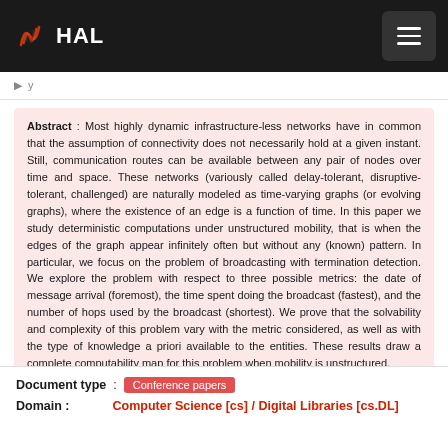HAL
Abstract : Most highly dynamic infrastructure-less networks have in common that the assumption of connectivity does not necessarily hold at a given instant. Still, communication routes can be available between any pair of nodes over time and space. These networks (variously called delay-tolerant, disruptive-tolerant, challenged) are naturally modeled as time-varying graphs (or evolving graphs), where the existence of an edge is a function of time. In this paper we study deterministic computations under unstructured mobility, that is when the edges of the graph appear infinitely often but without any (known) pattern. In particular, we focus on the problem of broadcasting with termination detection. We explore the problem with respect to three possible metrics: the date of message arrival (foremost), the time spent doing the broadcast (fastest), and the number of hops used by the broadcast (shortest). We prove that the solvability and complexity of this problem vary with the metric considered, as well as with the type of knowledge a priori available to the entities. These results draw a complete computability map for this problem when mobility is unstructured.
Document type : Conference papers
Domain : Computer Science [cs] / Digital Libraries [cs.DL]